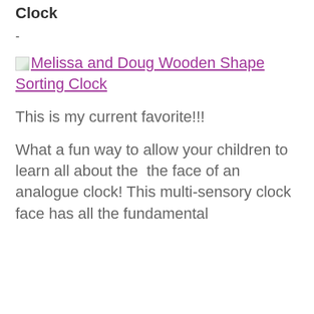Clock
-
[Figure (screenshot): Broken image placeholder for Melissa and Doug Wooden Shape Sorting Clock with linked text]
This is my current favorite!!!
What a fun way to allow your children to learn all about the  the face of an analogue clock! This multi-sensory clock face has all the fundamental